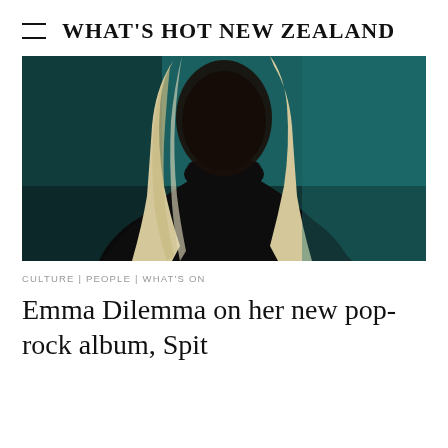WHAT'S HOT NEW ZEALAND
[Figure (photo): A person with long blonde hair wearing a black turtleneck, photographed against a dark teal background. The face is not visible/in shadow.]
CULTURE | PEOPLE | WHAT'S ON
Emma Dilemma on her new pop-rock album, Spit